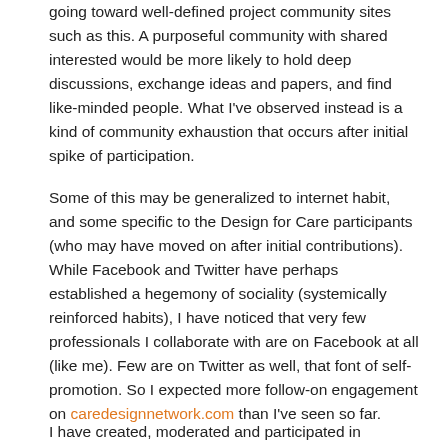going toward well-defined project community sites such as this. A purposeful community with shared interested would be more likely to hold deep discussions, exchange ideas and papers, and find like-minded people. What I've observed instead is a kind of community exhaustion that occurs after initial spike of participation.
Some of this may be generalized to internet habit, and some specific to the Design for Care participants (who may have moved on after initial contributions). While Facebook and Twitter have perhaps established a hegemony of sociality (systemically reinforced habits), I have noticed that very few professionals I collaborate with are on Facebook at all (like me). Few are on Twitter as well, that font of self-promotion. So I expected more follow-on engagement on caredesignnetwork.com than I've seen so far.
I have created, moderated and participated in numerous